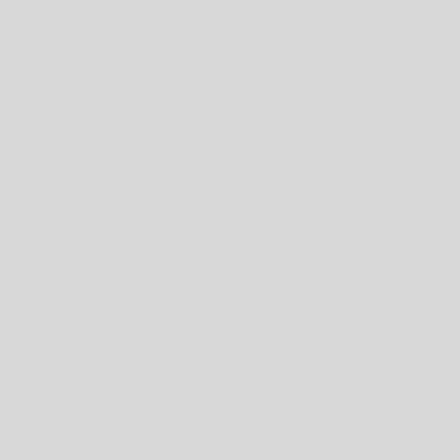151. If a planet at B gravitate, orbits.
time that the projectile force w combined action of these two carried it from B to X, or the g these two forces being duly pr both, will move in the circle B
152. But if, while the projectil constitutes the planet's gravita then be too strong for the proj
cause the planet to describe th power (which
always increases as the square account of the projectile force planet's motion all the way fro equal times. Having its motion tendency to fly off at K in the being too great to allow the pl circle Klmn, &c. it goes off, a from K to B, as it increases fr projectile motion just as much